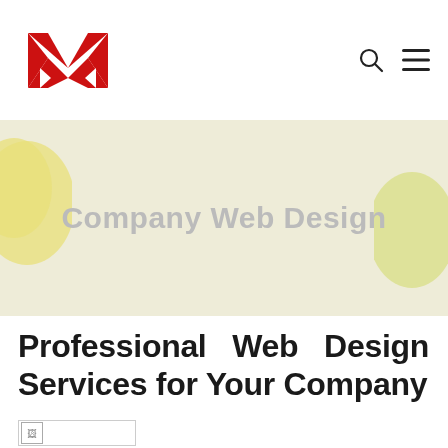Navigation header with logo and menu icons
[Figure (logo): Red stylized M logo mark made of geometric shapes]
Company Web Design
Professional Web Design Services for Your Company
[Figure (photo): Broken image placeholder]